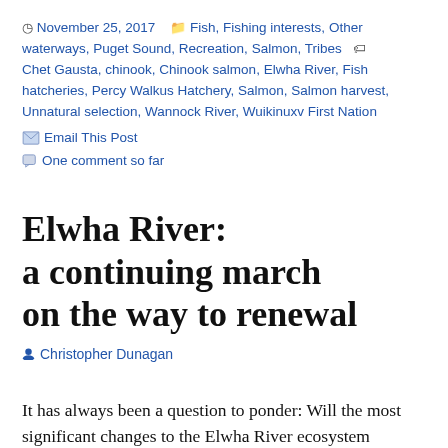November 25, 2017  Fish, Fishing interests, Other waterways, Puget Sound, Recreation, Salmon, Tribes  Chet Gausta, chinook, Chinook salmon, Elwha River, Fish hatcheries, Percy Walkus Hatchery, Salmon, Salmon harvest, Unnatural selection, Wannock River, Wuikinuxv First Nation
Email This Post
One comment so far
Elwha River: a continuing march on the way to renewal
Christopher Dunagan
It has always been a question to ponder: Will the most significant changes to the Elwha River ecosystem